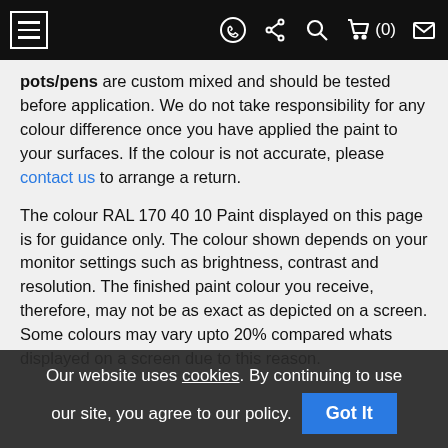Navigation bar with hamburger menu, WhatsApp, share, search, cart (0), and envelope icons
pots/pens are custom mixed and should be tested before application. We do not take responsibility for any colour difference once you have applied the paint to your surfaces. If the colour is not accurate, please contact us to arrange a return.
The colour RAL 170 40 10 Paint displayed on this page is for guidance only. The colour shown depends on your monitor settings such as brightness, contrast and resolution. The finished paint colour you receive, therefore, may not be as exact as depicted on a screen. Some colours may vary upto 20% compared whats displayed on a screen due to this reason.
Our website uses cookies. By continuing to use our site, you agree to our policy. Got It